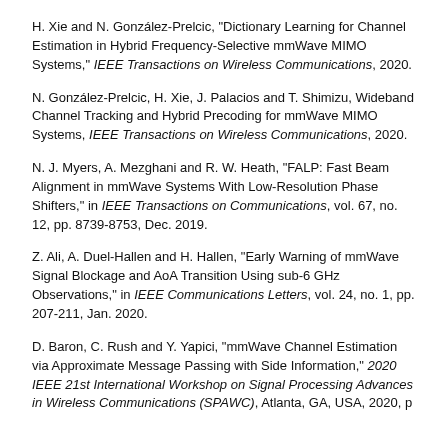H. Xie and N. González-Prelcic, "Dictionary Learning for Channel Estimation in Hybrid Frequency-Selective mmWave MIMO Systems," IEEE Transactions on Wireless Communications, 2020.
N. González-Prelcic, H. Xie, J. Palacios and T. Shimizu, Wideband Channel Tracking and Hybrid Precoding for mmWave MIMO Systems, IEEE Transactions on Wireless Communications, 2020.
N. J. Myers, A. Mezghani and R. W. Heath, "FALP: Fast Beam Alignment in mmWave Systems With Low-Resolution Phase Shifters," in IEEE Transactions on Communications, vol. 67, no. 12, pp. 8739-8753, Dec. 2019.
Z. Ali, A. Duel-Hallen and H. Hallen, "Early Warning of mmWave Signal Blockage and AoA Transition Using sub-6 GHz Observations," in IEEE Communications Letters, vol. 24, no. 1, pp. 207-211, Jan. 2020.
D. Baron, C. Rush and Y. Yapici, "mmWave Channel Estimation via Approximate Message Passing with Side Information," 2020 IEEE 21st International Workshop on Signal Processing Advances in Wireless Communications (SPAWC), Atlanta, GA, USA, 2020, p